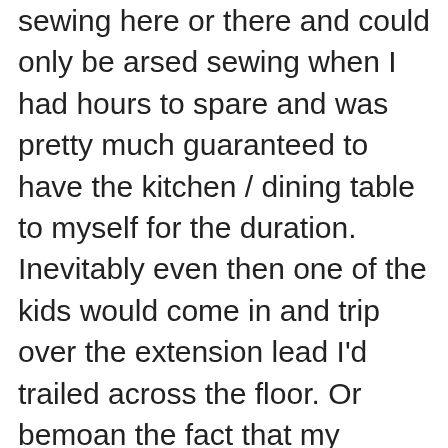sewing here or there and could only be arsed sewing when I had hours to spare and was pretty much guaranteed to have the kitchen / dining table to myself for the duration. Inevitably even then one of the kids would come in and trip over the extension lead I'd trailed across the floor. Or bemoan the fact that my ironing board was in the way of the biscuit tin. Or ask if they could use the table, blah blah blah.
I was under their feet and they were under mine.
And that's not even getting into how much time I routinely wasted turning